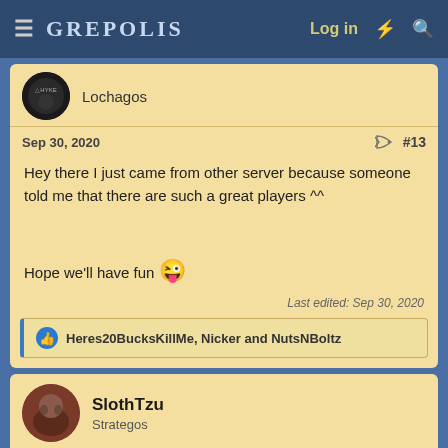GREPOLIS — Log in
Lochagos
Sep 30, 2020  #13
Hey there I just came from other server because someone told me that there are such a great players ^^

Hope we'll have fun 😛
Last edited: Sep 30, 2020
Heres20BucksKillMe, Nicker and NutsNBoltz
SlothTzu
Strategos
Sep 30, 2020  #14
Pretty obviously not true. This narrative is being spun by